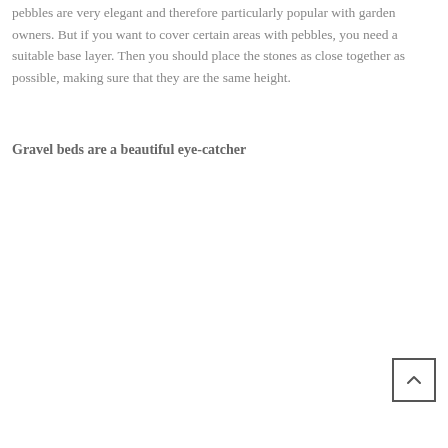pebbles are very elegant and therefore particularly popular with garden owners. But if you want to cover certain areas with pebbles, you need a suitable base layer. Then you should place the stones as close together as possible, making sure that they are the same height.
Gravel beds are a beautiful eye-catcher
[Figure (other): Back-to-top navigation button with upward chevron arrow inside a square border]